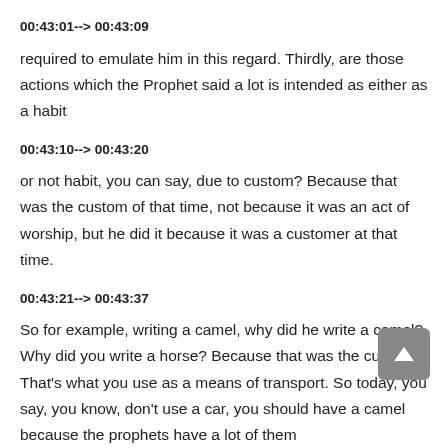00:43:01--> 00:43:09
required to emulate him in this regard. Thirdly, are those actions which the Prophet said a lot is intended as either as a habit
00:43:10--> 00:43:20
or not habit, you can say, due to custom? Because that was the custom of that time, not because it was an act of worship, but he did it because it was a customer at that time.
00:43:21--> 00:43:37
So for example, writing a camel, why did he write a camel? Why did you write a horse? Because that was the custom. That's what you use as a means of transport. So today, you say, you know, don't use a car, you should have a camel because the prophets have a lot of them